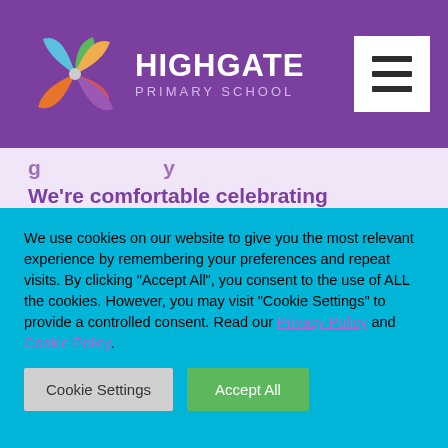HIGHGATE PRIMARY SCHOOL
We're comfortable celebrating Christmas as Highgate Primary, after all, it's hard to argue against promoting a message of goodwill to all mankind – unless of course you're 'a squeezing, wrenching, grasping, scraping, clutching covetous old sinner'
We use cookies on our website to give you the most relevant experience by remembering your preferences and repeat visits. By clicking "Accept All", you consent to the use of ALL the cookies. However, you may visit "Cookie Settings" to provide a controlled consent. Read our Privacy Policy and Cookie Policy.